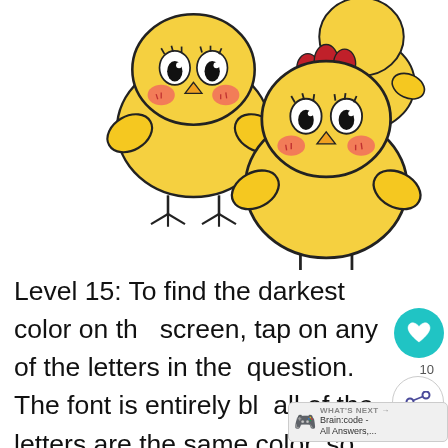[Figure (illustration): Four cartoon yellow chick illustrations on white background. Top-left: a cute yellow chick facing forward with rosy cheeks, wing-hands raised, and feet. Top-right: a yellow chick seen from behind. Bottom-center-left area is empty. Bottom-right: a yellow chick with a red comb on top of its head, facing forward with rosy cheeks and wing-hands raised.]
Level 15: To find the darkest color on the screen, tap on any of the letters in the question. The font is entirely bla all of the letters are the same color, so